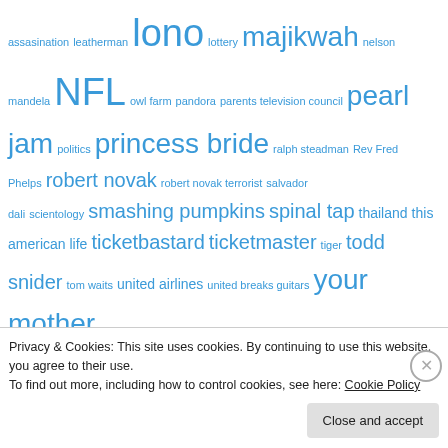assasination leatherman lono lottery majikwah nelson mandela NFL owl farm pandora parents television council pearl jam politics princess bride ralph steadman Rev Fred Phelps robert novak robert novak terrorist salvador dali scientology smashing pumpkins spinal tap thailand this american life ticketbastard ticketmaster tiger todd snider tom waits united airlines united breaks guitars your mother
Advertisements
[Figure (logo): Jetpack advertisement — green square with white circle lightning bolt icon and 'Jetpack' text in white]
Privacy & Cookies: This site uses cookies. By continuing to use this website, you agree to their use.
To find out more, including how to control cookies, see here: Cookie Policy